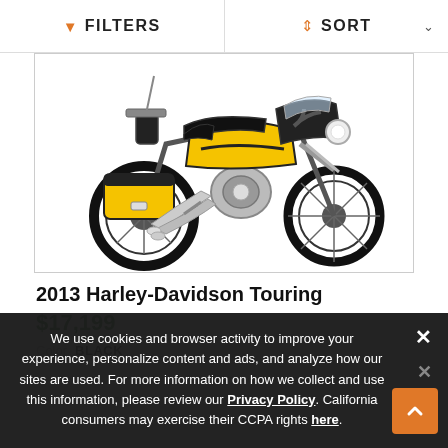FILTERS   SORT
[Figure (photo): Yellow and black 2013 Harley-Davidson Touring motorcycle, side profile view on white background]
2013 Harley-Davidson Touring
$17,199
Color   BLACK
We use cookies and browser activity to improve your experience, personalize content and ads, and analyze how our sites are used. For more information on how we collect and use this information, please review our Privacy Policy. California consumers may exercise their CCPA rights here.